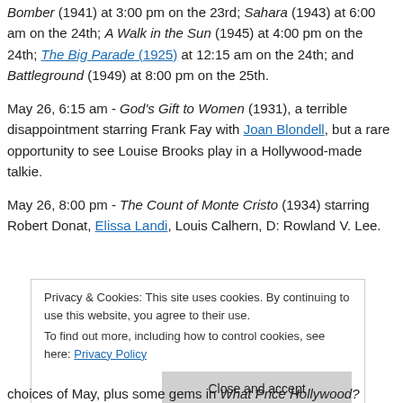Bomber (1941) at 3:00 pm on the 23rd; Sahara (1943) at 6:00 am on the 24th; A Walk in the Sun (1945) at 4:00 pm on the 24th; The Big Parade (1925) at 12:15 am on the 24th; and Battleground (1949) at 8:00 pm on the 25th.
May 26, 6:15 am - God's Gift to Women (1931), a terrible disappointment starring Frank Fay with Joan Blondell, but a rare opportunity to see Louise Brooks play in a Hollywood-made talkie.
May 26, 8:00 pm - The Count of Monte Cristo (1934) starring Robert Donat, Elissa Landi, Louis Calhern, D: Rowland V. Lee.
Privacy & Cookies: This site uses cookies. By continuing to use this website, you agree to their use. To find out more, including how to control cookies, see here: Privacy Policy
choices of May, plus some gems in What Price Hollywood?